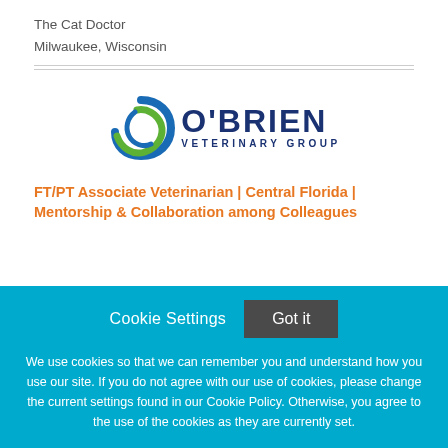The Cat Doctor
Milwaukee, Wisconsin
[Figure (logo): O'Brien Veterinary Group logo with circular green and blue swoosh icon and dark blue text]
FT/PT Associate Veterinarian | Central Florida | Mentorship & Collaboration among Colleagues
Cookie Settings   Got it
We use cookies so that we can remember you and understand how you use our site. If you do not agree with our use of cookies, please change the current settings found in our Cookie Policy. Otherwise, you agree to the use of the cookies as they are currently set.